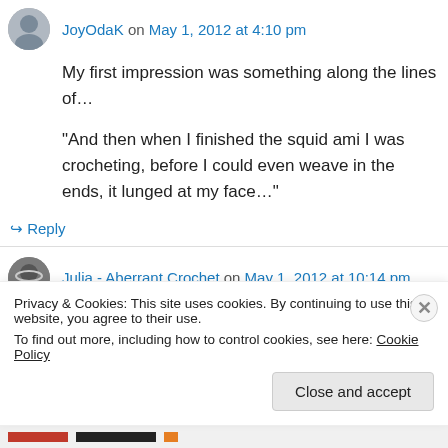JoyOdaK on May 1, 2012 at 4:10 pm
My first impression was something along the lines of…
“And then when I finished the squid ami I was crocheting, before I could even weave in the ends, it lunged at my face…”
↳ Reply
Julia - Aberrant Crochet on May 1, 2012 at 10:14 pm
Privacy & Cookies: This site uses cookies. By continuing to use this website, you agree to their use.
To find out more, including how to control cookies, see here: Cookie Policy